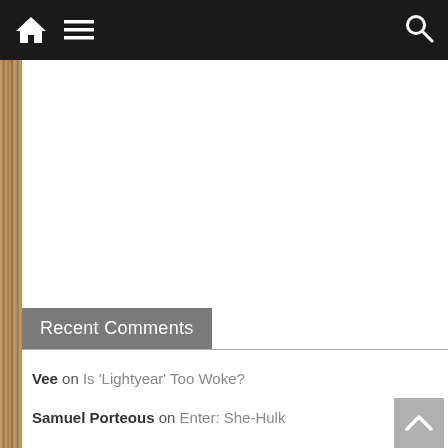Navigation bar with home icon, menu icon, and search icon
[Figure (other): Advertisement placeholder area (white space)]
Recent Comments
Vee on Is 'Lightyear' Too Woke?
Samuel Porteous on Enter: She-Hulk
Sandra Baringer on Why Librarians Will Be The Last To Unmask